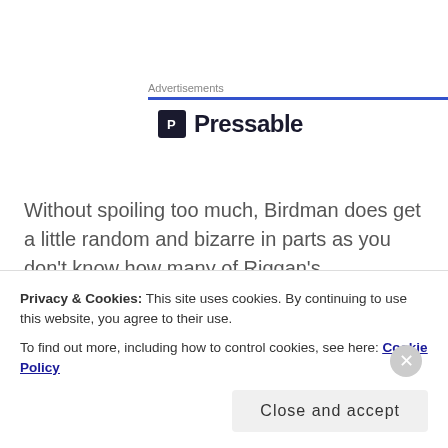Advertisements
[Figure (logo): Pressable logo with dark square P icon and bold text 'Pressable']
Without spoiling too much, Birdman does get a little random and bizarre in parts as you don't know how many of Riggan's encounters and altercations are actually happening.
The ending may split people. But for me I liked it. It
Privacy & Cookies: This site uses cookies. By continuing to use this website, you agree to their use.
To find out more, including how to control cookies, see here: Cookie Policy
Close and accept